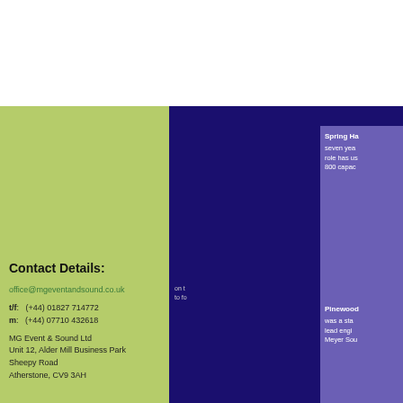Contact Details:
office@mgeventandsound.co.uk
t/f: (+44) 01827 714772
m: (+44) 07710 432618
MG Event & Sound Ltd
Unit 12, Alder Mill Business Park
Sheepy Road
Atherstone, CV9 3AH
Spring Ha... seven years... role has us... 800 capac...
on t... to fo...
Pinewood... was a star... lead engi... Meyer Sou...